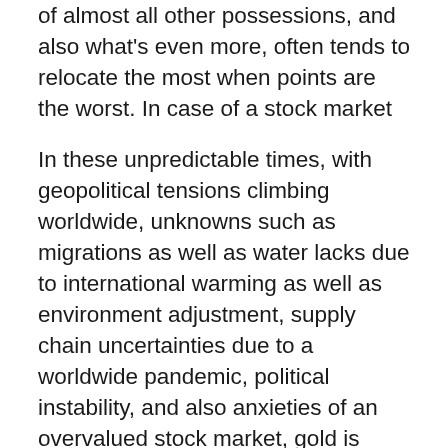of almost all other possessions, and also what's even more, often tends to relocate the most when points are the worst. In case of a stock market accident, gold becomes an exceptionally valuable property to hold in your portfolio.
In these unpredictable times, with geopolitical tensions climbing worldwide, unknowns such as migrations as well as water lacks due to international warming as well as environment adjustment, supply chain uncertainties due to a worldwide pandemic, political instability, and also anxieties of an overvalued stock market, gold is merely the best to hedge versus every one of these dangers.